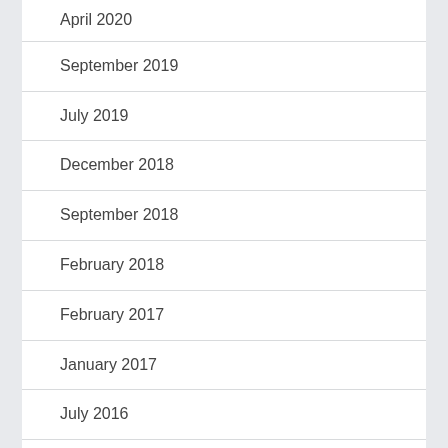April 2020
September 2019
July 2019
December 2018
September 2018
February 2018
February 2017
January 2017
July 2016
April 2016